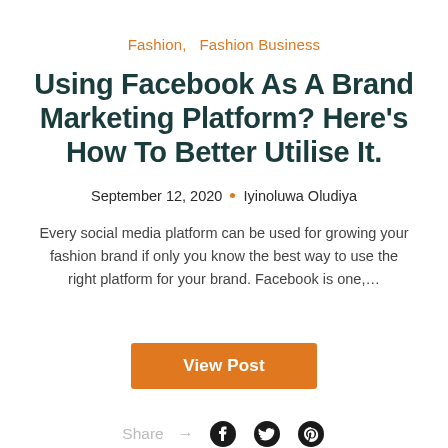Fashion,   Fashion Business
Using Facebook As A Brand Marketing Platform? Here's How To Better Utilise It.
September 12, 2020 · Iyinoluwa Oludiya
Every social media platform can be used for growing your fashion brand if only you know the best way to use the right platform for your brand. Facebook is one,...
View Post
Share → (Facebook) (Twitter) (Pinterest)